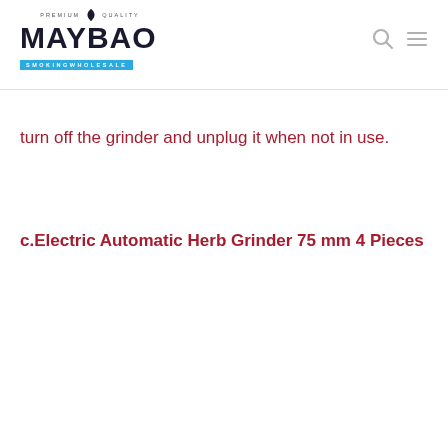MAYBAO SMOKINGWHOLESALE
turn off the grinder and unplug it when not in use.
c.Electric Automatic Herb Grinder 75 mm 4 Pieces